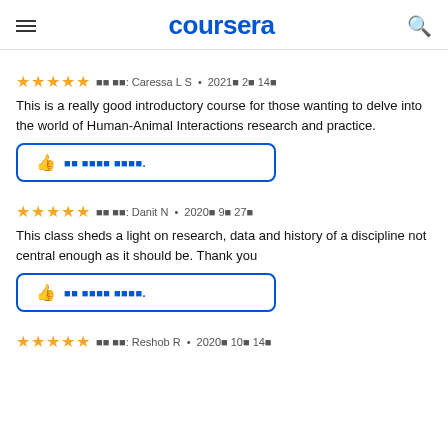coursera
검토자: Caressa L S • 2021년 2월 14일
This is a really good introductory course for those wanting to delve into the world of Human-Animal Interactions research and practice.
이것이 도움이 되었나요?
검토자: Danit N • 2020년 9월 27일
This class sheds a light on research, data and history of a discipline not central enough as it should be. Thank you
이것이 도움이 되었나요?
검토자: Reshob R • 2020년 10월 14일